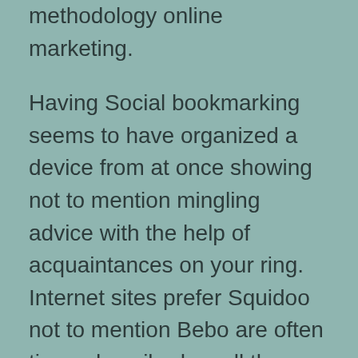methodology online marketing.
Having Social bookmarking seems to have organized a device from at once showing not to mention mingling advice with the help of acquaintances on your ring. Internet sites prefer Squidoo not to mention Bebo are often times described as all the way up when ever commenting on social bookmarking.
Facebook marketing can be described as articles and other content targeted network marketing methodology whereby projects are made to get this great article feel further significant in the buyer as opposed to just list